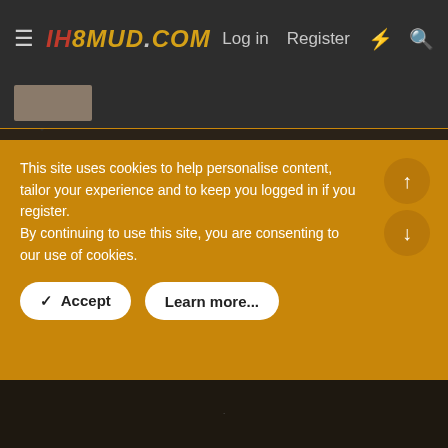IH8MUD.COM  Log in  Register
Feb 17, 2006  #19
Mark W said:
4 inch lift on an '80 is fine. 37 inch IROCs on an '80 is fine. But that joke at the top of this thread is another story entirely.

Mark...
This site uses cookies to help personalise content, tailor your experience and to keep you logged in if you register.
By continuing to use this site, you are consenting to our use of cookies.
✓  Accept    Learn more...